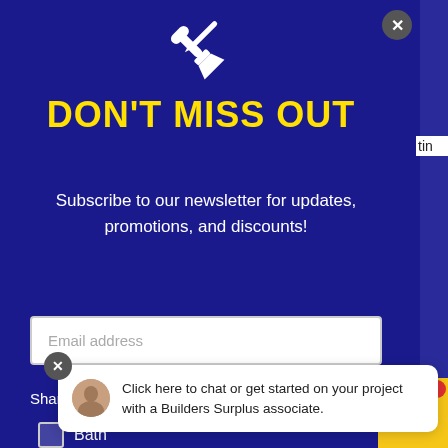[Figure (screenshot): Newsletter subscription popup modal on a dark blue background with wrench/tools icon, yellow bold title 'DON'T MISS OUT', subscription text, email input field, and interest sharing section. Overlaid by a chat widget popup with an avatar and text about Builders Surplus.]
DON'T MISS OUT
Subscribe to our newsletter for updates, promotions, and discounts!
Email address
Share what you're interested in seeing
Click here to chat or get started on your project with a Builders Surplus associate.
Bath